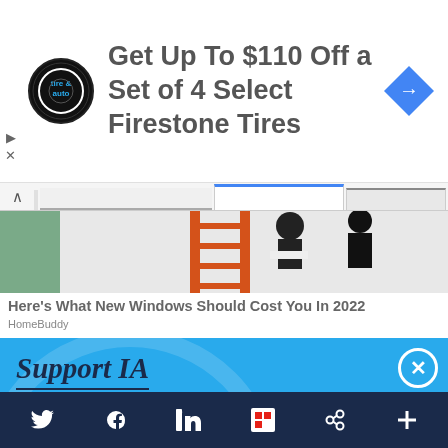[Figure (infographic): Advertisement banner: tire & auto logo circle, text 'Get Up To $110 Off a Set of 4 Select Firestone Tires', blue diamond arrow icon on right]
[Figure (photo): Partial photo of a person on an orange ladder against a white wall]
Here's What New Windows Should Cost You In 2022
HomeBuddy
Support IA
Subscribe to IA and investigate Australia today.
Close   Subscribe   Donate
Twitter  Facebook  LinkedIn  Flipboard  Share  More